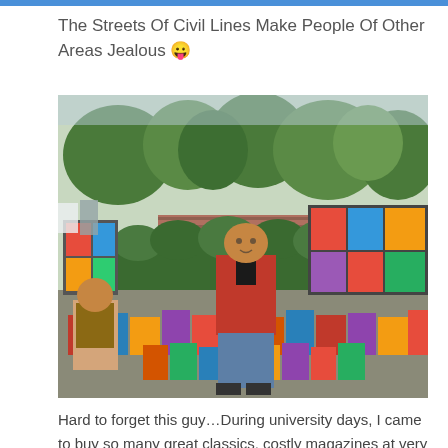The Streets Of Civil Lines Make People Of Other Areas Jealous 😛
[Figure (photo): A man in a red hoodie and jeans stands in front of an outdoor street stall covered with magazines, books, and DVDs displayed on the ground and on boards behind him. Trees and a brick wall are visible in the background. An older man sits to the left.]
Hard to forget this guy…During university days, I came to buy so many great classics, costly magazines at very